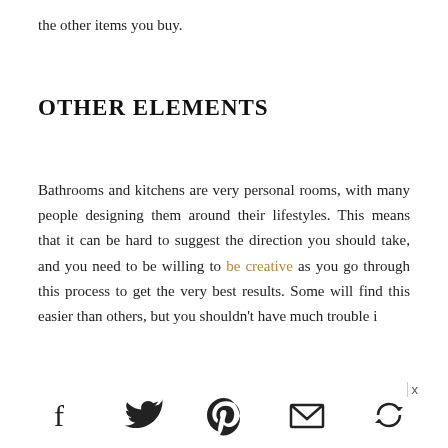the other items you buy.
OTHER ELEMENTS
Bathrooms and kitchens are very personal rooms, with many people designing them around their lifestyles. This means that it can be hard to suggest the direction you should take, and you need to be willing to be creative as you go through this process to get the very best results. Some will find this easier than others, but you shouldn't have much trouble i
[Figure (infographic): Social sharing bar with icons for Facebook, Twitter, Pinterest, Email, and a circular arrow/share icon, plus a close X button]